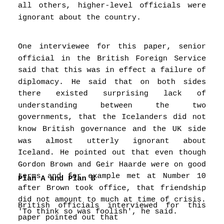all others, higher-level officials were ignorant about the country.
One interviewee for this paper, senior official in the British Foreign Service said that this was in effect a failure of diplomacy. He said that on both sides there existed surprising lack of understanding between the two governments, that the Icelanders did not know British governance and the UK side was almost utterly ignorant about Iceland. He pointed out that even though Gordon Brown and Geir Haarde were on good terms and for example met at Number 10 after Brown took office, that friendship did not amount to much at time of crisis. ‘To think so was foolish’, he said.
Plan A and Plan B
British officials interviewed for this paper pointed out that